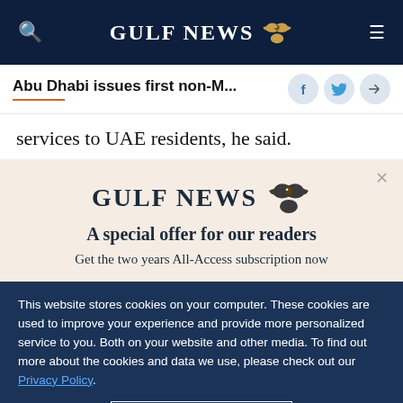GULF NEWS
Abu Dhabi issues first non-M...
services to UAE residents, he said.
[Figure (other): Gulf News logo with eagle, promo box with text: A special offer for our readers. Get the two years All-Access subscription now]
This website stores cookies on your computer. These cookies are used to improve your experience and provide more personalized service to you. Both on your website and other media. To find out more about the cookies and data we use, please check out our Privacy Policy.
OK